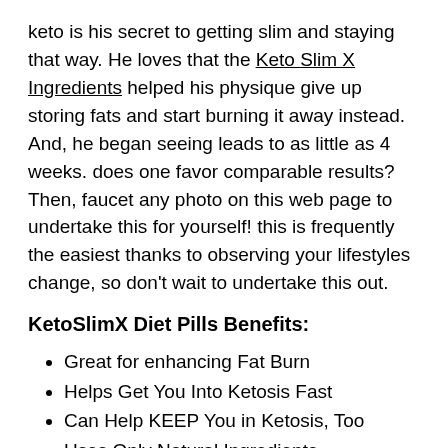keto is his secret to getting slim and staying that way. He loves that the Keto Slim X Ingredients helped his physique give up storing fats and start burning it away instead. And, he began seeing leads to as little as 4 weeks. does one favor comparable results? Then, faucet any photo on this web page to undertake this for yourself! this is frequently the easiest thanks to observing your lifestyles change, so don't wait to undertake this out.
KetoSlimX Diet Pills Benefits:
Great for enhancing Fat Burn
Helps Get You Into Ketosis Fast
Can Help KEEP You in Ketosis, Too
Uses Only Natural Ingredients
Great for enhancing Your Energy
Easy To Order Online Supplement
Fast Acting Fat Burning Formula